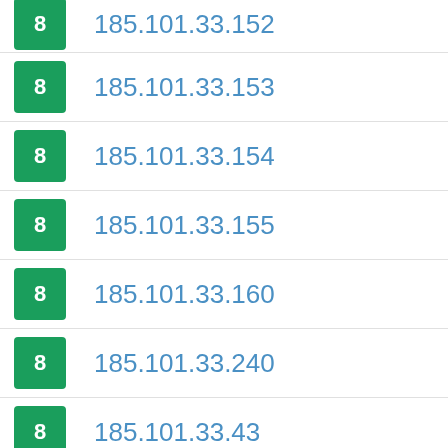8  185.101.33.152
8  185.101.33.153
8  185.101.33.154
8  185.101.33.155
8  185.101.33.160
8  185.101.33.240
8  185.101.33.43
8  185.101.33.80
8  185.126.38.11
8  217.170.192.0